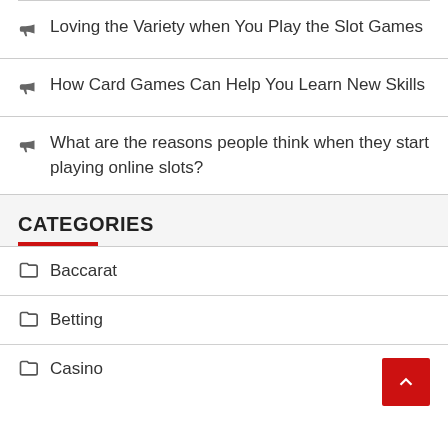Loving the Variety when You Play the Slot Games
How Card Games Can Help You Learn New Skills
What are the reasons people think when they start playing online slots?
CATEGORIES
Baccarat
Betting
Casino